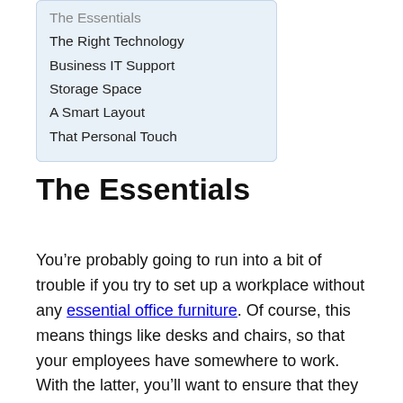The Essentials
The Right Technology
Business IT Support
Storage Space
A Smart Layout
That Personal Touch
The Essentials
You’re probably going to run into a bit of trouble if you try to set up a workplace without any essential office furniture. Of course, this means things like desks and chairs, so that your employees have somewhere to work. With the latter, you’ll want to ensure that they provide some form of ergonomic support to avoid any back problems down the line.